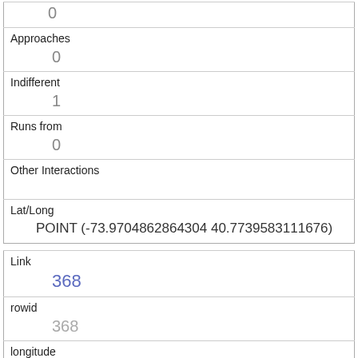|  | 0 |
| Approaches | 0 |
| Indifferent | 1 |
| Runs from | 0 |
| Other Interactions |  |
| Lat/Long | POINT (-73.9704862864304 40.7739583111676) |
| Link | 368 |
| rowid | 368 |
| longitude | -73.970315671921 |
| latitude | 40.77209053954721 |
| Unique Squirrel ID |  |